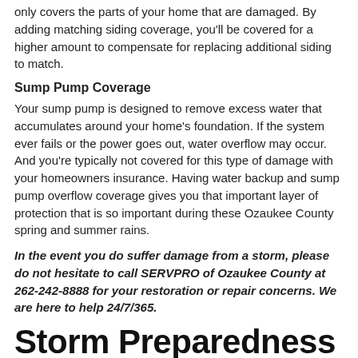only covers the parts of your home that are damaged. By adding matching siding coverage, you'll be covered for a higher amount to compensate for replacing additional siding to match.
Sump Pump Coverage
Your sump pump is designed to remove excess water that accumulates around your home's foundation. If the system ever fails or the power goes out, water overflow may occur. And you're typically not covered for this type of damage with your homeowners insurance. Having water backup and sump pump overflow coverage gives you that important layer of protection that is so important during these Ozaukee County spring and summer rains.
In the event you do suffer damage from a storm, please do not hesitate to call SERVPRO of Ozaukee County at 262-242-8888 for your restoration or repair concerns. We are here to help 24/7/365.
Storm Preparedness
2/28/2022 (Permalink)